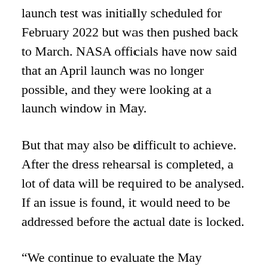launch test was initially scheduled for February 2022 but was then pushed back to March. NASA officials have now said that an April launch was no longer possible, and they were looking at a launch window in May.
But that may also be difficult to achieve. After the dress rehearsal is completed, a lot of data will be required to be analysed. If an issue is found, it would need to be addressed before the actual date is locked.
“We continue to evaluate the May window, but we’re also recognising that there’s a lot of work in front of us,” Space.com quoted Tom Whitmeyer, deputy associate administrator for exploration systems development at NASA, as saying at a virtual news conference.
The report also stated that the “wet dress rehearsal” will